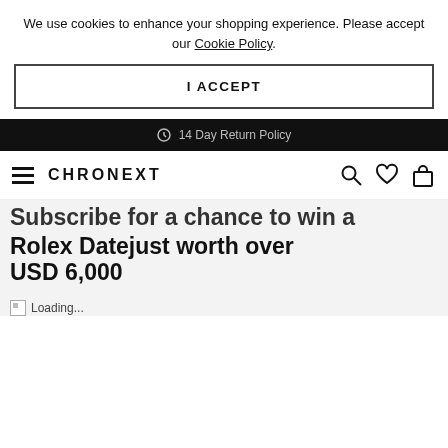We use cookies to enhance your shopping experience. Please accept our Cookie Policy.
I ACCEPT
14 Day Return Policy
CHRONEXT
Subscribe for a chance to win a Rolex Datejust worth over USD 6,000
[Figure (other): Broken image placeholder showing 'Loading...' text]